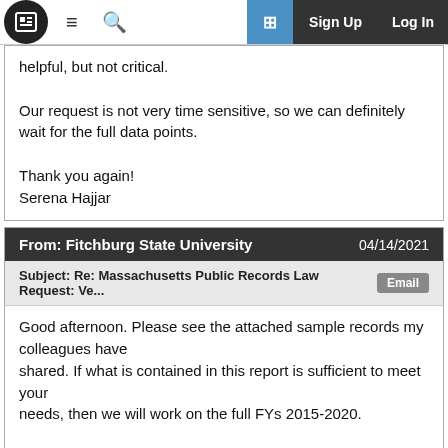Sign Up  Log In
helpful, but not critical.

Our request is not very time sensitive, so we can definitely wait for the full data points.

Thank you again!
Serena Hajjar
From: Fitchburg State University   04/14/2021
Subject: Re: Massachusetts Public Records Law Request: Ve...   Email
Good afternoon. Please see the attached sample records my colleagues have shared. If what is contained in this report is sufficient to meet your needs, then we will work on the full FYs 2015-2020.

Thank you.